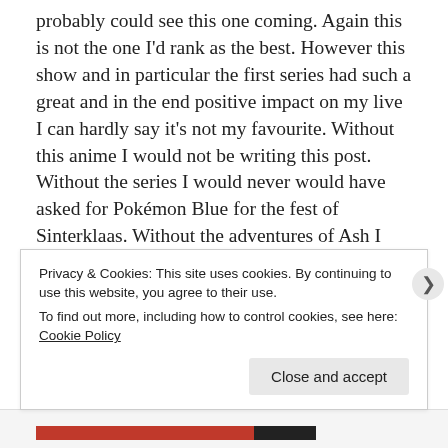probably could see this one coming. Again this is not the one I'd rank as the best. However this show and in particular the first series had such a great and in the end positive impact on my live I can hardly say it's not my favourite. Without this anime I would not be writing this post. Without the series I would never would have asked for Pokémon Blue for the fest of Sinterklaas. Without the adventures of Ash I would never have fallen in love with the geek communities. I would have never bonded with some of the geeks that made my life the way it is now. I didn't even follow the series anymore but when I read and saw that Ash finally became a champion
Privacy & Cookies: This site uses cookies. By continuing to use this website, you agree to their use.
To find out more, including how to control cookies, see here: Cookie Policy